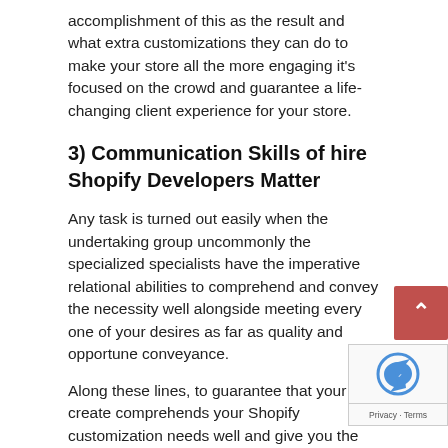accomplishment of this as the result and what extra customizations they can do to make your store all the more engaging it's focused on the crowd and guarantee a life-changing client experience for your store.
3) Communication Skills of hire Shopify Developers Matter
Any task is turned out easily when the undertaking group uncommonly the specialized specialists have the imperative relational abilities to comprehend and convey the necessity well alongside meeting every one of your desires as far as quality and opportune conveyance.
Along these lines, to guarantee that your create comprehends your Shopify customization needs well and give you the normal administrations, assess them on their correspondence and fitness also notwithstanding their specialized abilities.